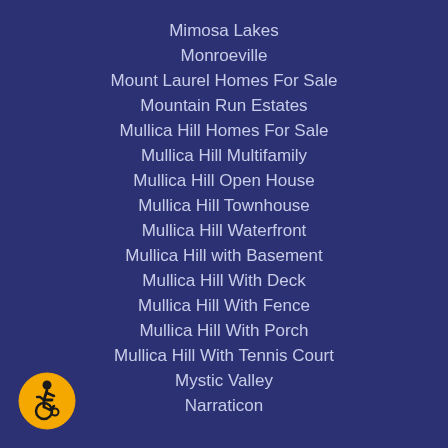Mimosa Lakes
Monroeville
Mount Laurel Homes For Sale
Mountain Run Estates
Mullica Hill Homes For Sale
Mullica Hill Multifamily
Mullica Hill Open House
Mullica Hill Townhouse
Mullica Hill Waterfront
Mullica Hill with Basement
Mullica Hill With Deck
Mullica Hill With Fence
Mullica Hill With Porch
Mullica Hill With Tennis Court
Mystic Valley
Narraticon
[Figure (illustration): Accessibility icon: yellow circle with black wheelchair user symbol]